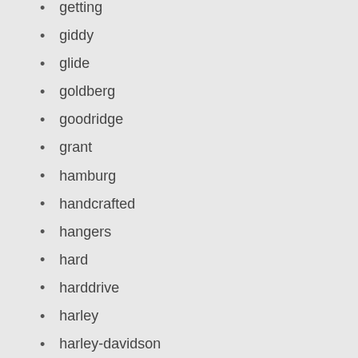getting
giddy
glide
goldberg
goodridge
grant
hamburg
handcrafted
hangers
hard
harddrive
harley
harley-davidson
harleys
heavy
hells
here
heritage
high
history
hitches